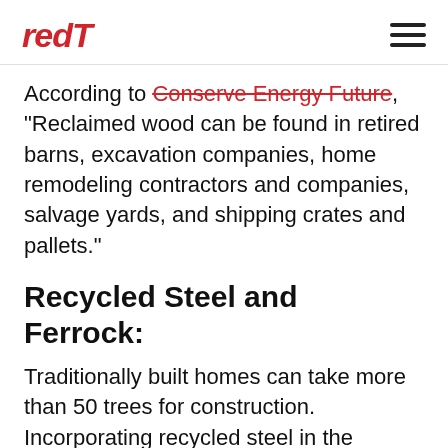redT
According to Conserve Energy Future, "Reclaimed wood can be found in retired barns, excavation companies, home remodeling contractors and companies, salvage yards, and shipping crates and pallets."
Recycled Steel and Ferrock:
Traditionally built homes can take more than 50 trees for construction. Incorporating recycled steel in the framing